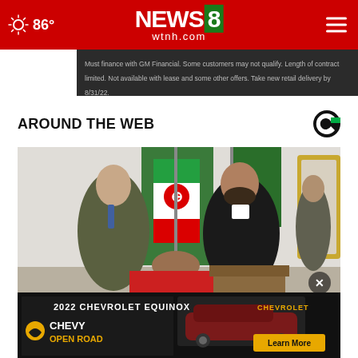86° NEWS8 wtnh.com
Must finance with GM Financial. Some customers may not qualify. Length of contract limited. Not available with lease and some other offers. Take new retail delivery by 8/31/22.
AROUND THE WEB
[Figure (photo): Two men shaking hands in front of Iranian flags in a formal room with mirrors]
[Figure (advertisement): 2022 Chevrolet Equinox advertisement with Chevy Open Road branding and Learn More button]